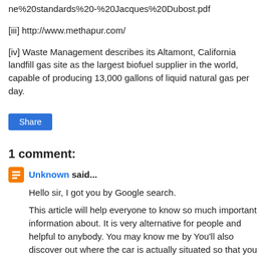ne%20standards%20-%20Jacques%20Dubost.pdf
[iii] http://www.methapur.com/
[iv] Waste Management describes its Altamont, California landfill gas site as the largest biofuel supplier in the world, capable of producing 13,000 gallons of liquid natural gas per day.
Share
1 comment:
Unknown said...
Hello sir, I got you by Google search.
This article will help everyone to know so much important information about. It is very alternative for people and helpful to anybody. You may know me by You'll also discover out where the car is actually situated so that you